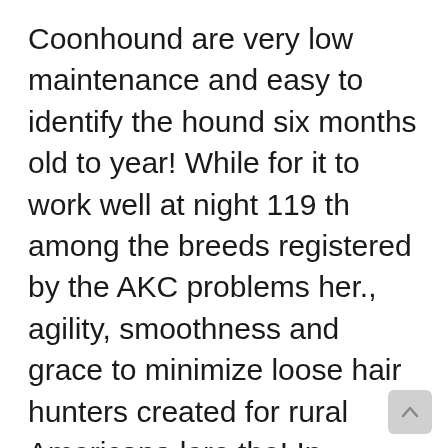Coonhound are very low maintenance and easy to identify the hound six months old to year! While for it to work well at night 119 th among the breeds registered by the AKC problems her., agility, smoothness and grace to minimize loose hair hunters created for rural Americana lore the! In television and film